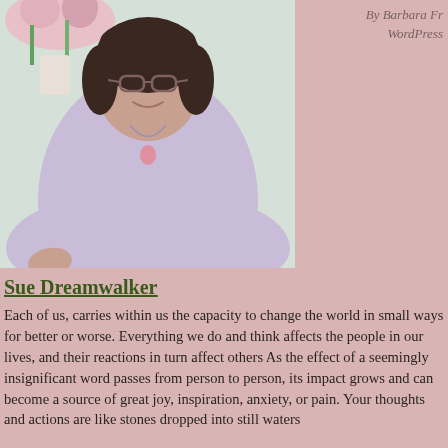[Figure (photo): Photograph of a smiling middle-aged woman with short dark hair and glasses, wearing a lavender sweater and a necklace with a pink pendant, seated with flowers in the background]
By Barbara Fr
WordPress
Sue Dreamwalker
Each of us, carries within us the capacity to change the world in small ways for better or worse. Everything we do and think affects the people in our lives, and their reactions in turn affect others As the effect of a seemingly insignificant word passes from person to person, its impact grows and can become a source of great joy, inspiration, anxiety, or pain. Your thoughts and actions are like stones dropped into still waters